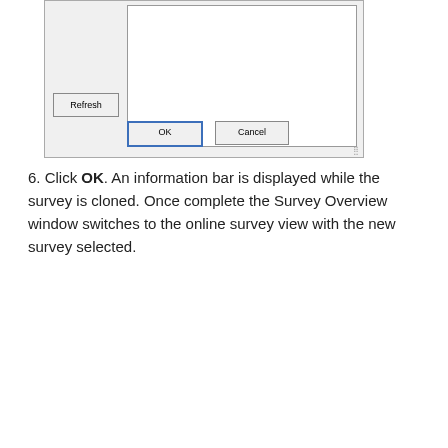[Figure (screenshot): Top portion of a dialog box showing a white content area, a Refresh button, and OK/Cancel buttons at the bottom. OK button has a blue border indicating it is the default button.]
6. Click OK. An information bar is displayed while the survey is cloned. Once complete the Survey Overview window switches to the online survey view with the new survey selected.
[Figure (screenshot): Survey Overview - Online Surveys window showing a tree view with Snap Online (UK Datacentre/chris@example.org) > Your work > Demo Surveys > Crocodile XMP entry highlighted with a red border. Columns: Name, Title, Variables, Cases, State. The Crocodile XMP row shows Title: Web and Page, Variables: 32, Cases: 209, State: not started.]